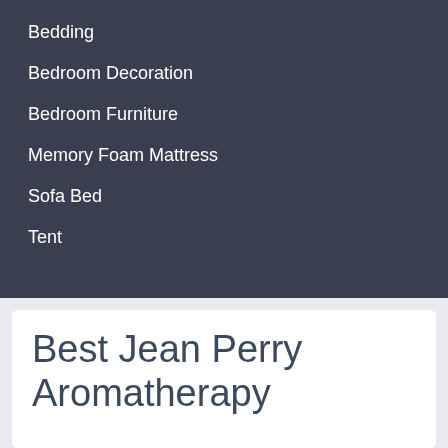Bedding
Bedroom Decoration
Bedroom Furniture
Memory Foam Mattress
Sofa Bed
Tent
Best Jean Perry Aromatherapy